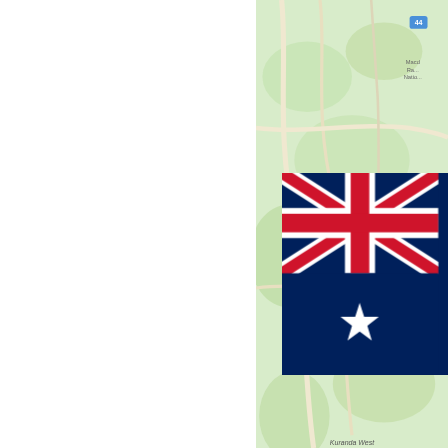[Figure (map): Green terrain map showing Kuranda West Forest Reserve area with road overlays and a route marker]
[Figure (illustration): Australian national flag — blue ensign with Union Jack in upper left canton and Southern Cross plus Commonwealth Star on right half]
Kuranda West
Forest Reserve
Zac and Morgan are members of the Cairns Rifle Club, a... Cairns Rifle Club members in 1903:
[Figure (photo): Historical photograph with overlay text reading CAIRNS RIFLE CLUB 1903, showing old black and white image of club members with handwritten text visible on right side]